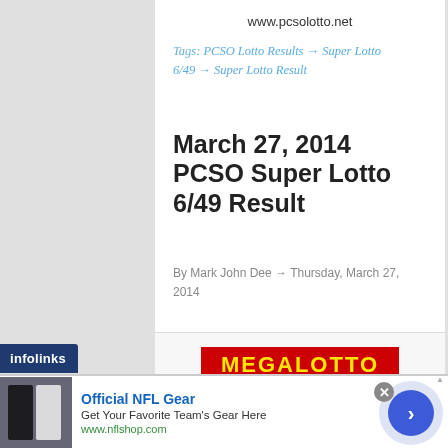www.pcsolotto.net
Tags: PCSO Lotto Results → Super Lotto 6/49 → Super Lotto Result
March 27, 2014 PCSO Super Lotto 6/49 Result
By Mark John Dee → Thursday, March 27, 2014
[Figure (logo): Megalotto 6/45 logo with red banner showing MEGALOTTO in yellow text and large dark blue 6/45 numbers below]
Official NFL Gear
Get Your Favorite Team's Gear Here
www.nflshop.com